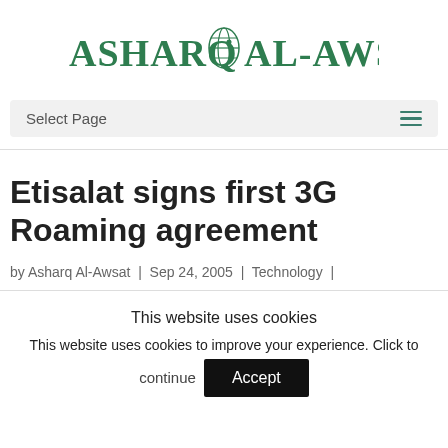[Figure (logo): Asharq Al-Awsat logo — green serif text with globe icon in center]
Select Page
Etisalat signs first 3G Roaming agreement
by Asharq Al-Awsat | Sep 24, 2005 | Technology |
This website uses cookies
This website uses cookies to improve your experience. Click to continue
Accept